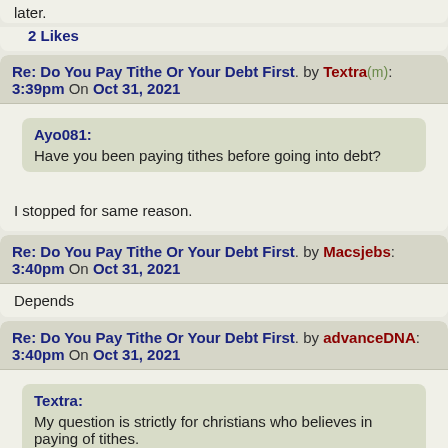later.
2 Likes
Re: Do You Pay Tithe Or Your Debt First. by Textra(m): 3:39pm On Oct 31, 2021
Ayo081: Have you been paying tithes before going into debt?
I stopped for same reason.
Re: Do You Pay Tithe Or Your Debt First. by Macsjebs: 3:40pm On Oct 31, 2021
Depends
Re: Do You Pay Tithe Or Your Debt First. by advanceDNA: 3:40pm On Oct 31, 2021
Textra: My question is strictly for christians who believes in paying of tithes.